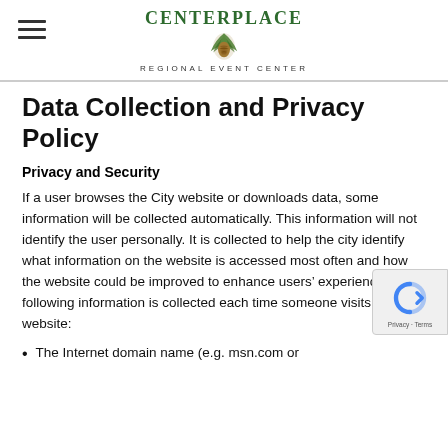CenterPlace Regional Event Center
Data Collection and Privacy Policy
Privacy and Security
If a user browses the City website or downloads data, some information will be collected automatically. This information will not identify the user personally. It is collected to help the city identify what information on the website is accessed most often and how the website could be improved to enhance users’ experience. The following information is collected each time someone visits a website:
The Internet domain name (e.g. msn.com or